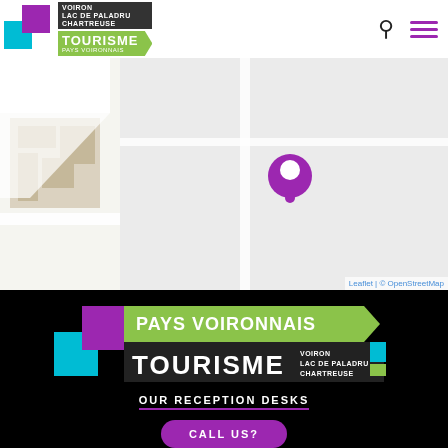[Figure (logo): Pays Voironnais Tourisme logo with colored squares and green banner in header]
[Figure (map): OpenStreetMap leaflet map showing street map with a purple location pin marker]
Leaflet | © OpenStreetMap
[Figure (logo): Pays Voironnais Tourisme logo with colored squares, green and dark banners on black background]
OUR RECEPTION DESKS
CALL US?